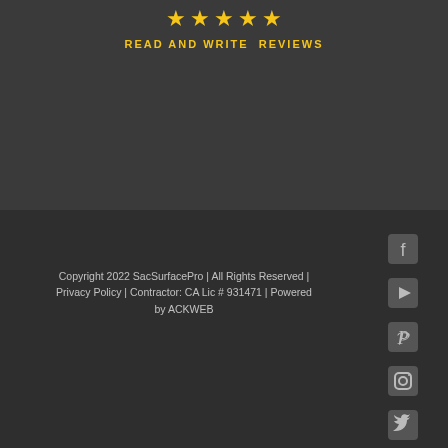[Figure (other): Five gold star rating icons]
READ AND WRITE REVIEWS
[Figure (other): Social media icons: Facebook, YouTube, Pinterest, Instagram, Twitter, LinkedIn]
Copyright 2022 SacSurfacePro | All Rights Reserved | Privacy Policy | Contractor: CA Lic # 931471 | Powered by ACKWEB